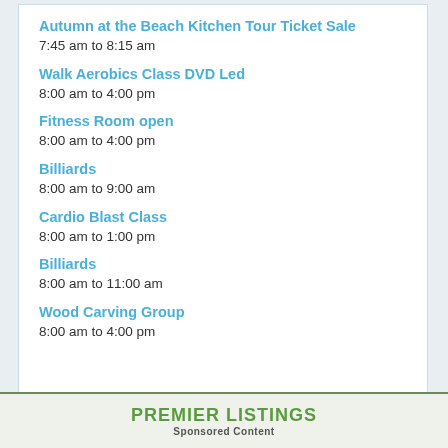Autumn at the Beach Kitchen Tour Ticket Sale
7:45 am to 8:15 am
Walk Aerobics Class DVD Led
8:00 am to 4:00 pm
Fitness Room open
8:00 am to 4:00 pm
Billiards
8:00 am to 9:00 am
Cardio Blast Class
8:00 am to 1:00 pm
Billiards
8:00 am to 11:00 am
Wood Carving Group
8:00 am to 4:00 pm
PREMIER LISTINGS
Sponsored Content